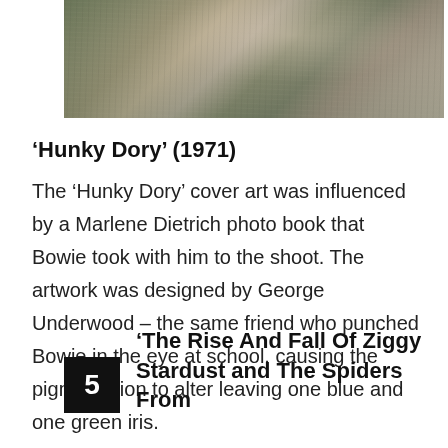[Figure (photo): A blurred/textured nature photograph showing muted greens, grays and light tones, appearing to be foliage or rock surfaces.]
‘Hunky Dory’ (1971)
The ‘Hunky Dory’ cover art was influenced by a Marlene Dietrich photo book that Bowie took with him to the shoot. The artwork was designed by George Underwood – the same friend who punched Bowie in the eye at school, causing the pigmentation to alter leaving one blue and one green iris.
5  ‘The Rise And Fall Of Ziggy Stardust and The Spiders From